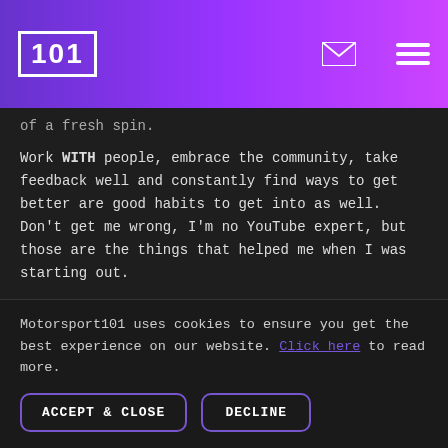101 [logo] [envelope icon] [menu icon]
of a fresh spin.
Work WITH people, embrace the community, take feedback well and constantly find ways to get better are good habits to get into as well. Don't get me wrong, I'm no YouTube expert, but those are the things that helped me when I was starting out.
HOW DO YOU HAVE SO MANY TWEETS?
Nearly 140,000 at time of writing.
Motorsport101 uses cookies to ensure you get the best experience on our website. Click here to read more.
ACCEPT & CLOSE   DECLINE